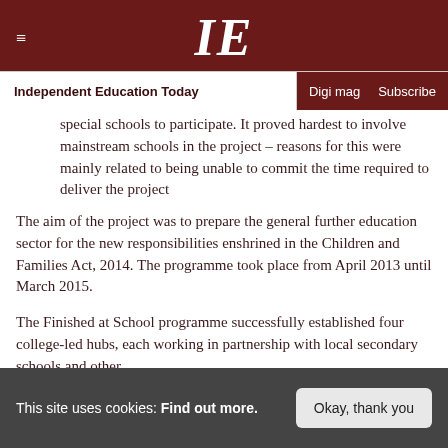IE — Independent Education Today | Digi mag | Subscribe
special schools to participate. It proved hardest to involve mainstream schools in the project – reasons for this were mainly related to being unable to commit the time required to deliver the project
The aim of the project was to prepare the general further education sector for the new responsibilities enshrined in the Children and Families Act, 2014. The programme took place from April 2013 until March 2015.
The Finished at School programme successfully established four college-led hubs, each working in partnership with local secondary schools and other
This site uses cookies: Find out more. Okay, thank you